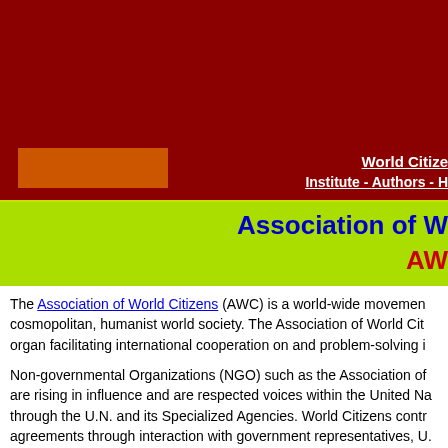World Citizens Institute - Authors - H
Association of W
AW
The Association of World Citizens (AWC) is a world-wide movement... cosmopolitan, humanist world society. The Association of World Cit... organ facilitating international cooperation on and problem-solving i...
Non-governmental Organizations (NGO) such as the Association of... are rising in influence and are respected voices within the United Na... through the U.N. and its Specialized Agencies. World Citizens contr... agreements through interaction with government representatives, U.... academic specialists. In this way World Citizens take firm action to ... society.